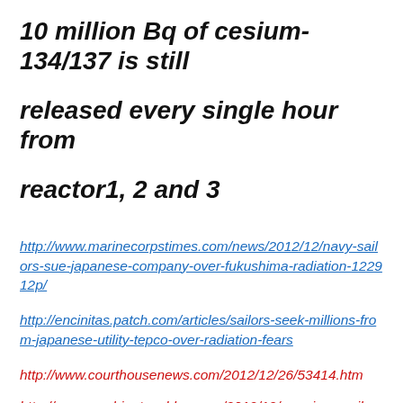10 million Bq of cesium-134/137 is still released every single hour from reactor1, 2 and 3
http://www.marinecorpstimes.com/news/2012/12/navy-sailors-sue-japanese-company-over-fukushima-radiation-122912p/
http://encinitas.patch.com/articles/sailors-seek-millions-from-japanese-utility-tepco-over-radiation-fears
http://www.courthousenews.com/2012/12/26/53414.htm
http://www.washingtonsblog.com/2012/12/american-sailors-sue-tepco-